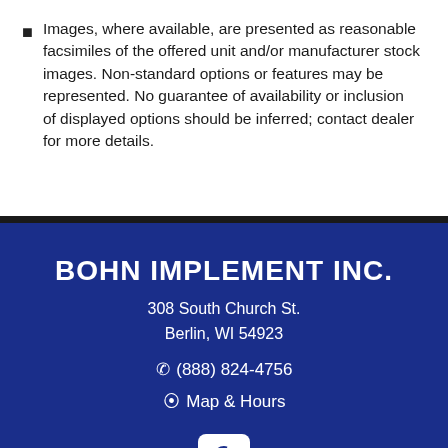Images, where available, are presented as reasonable facsimiles of the offered unit and/or manufacturer stock images. Non-standard options or features may be represented. No guarantee of availability or inclusion of displayed options should be inferred; contact dealer for more details.
BOHN IMPLEMENT INC.
308 South Church St.
Berlin, WI 54923
(888) 824-4756
Map & Hours